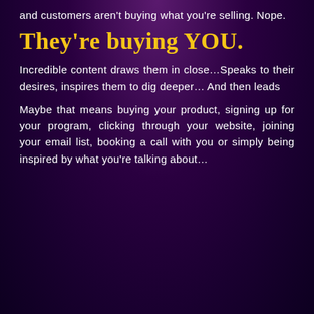and customers aren't buying what you're selling. Nope.
They're buying YOU.
Incredible content draws them in close…Speaks to their desires, inspires them to dig deeper… And then leads
Maybe that means buying your product, signing up for your program, clicking through your website, joining your email list, booking a call with you or simply being inspired by what you're talking about…